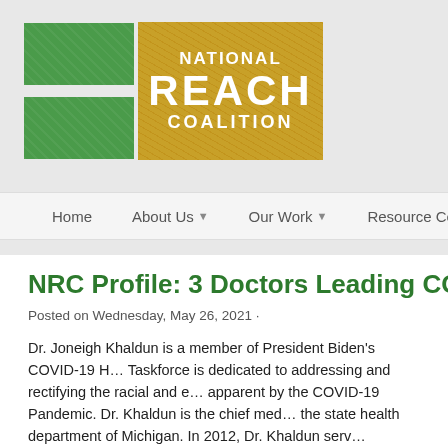[Figure (logo): National REACH Coalition logo with green rectangle bars on left and gold/yellow box with white text reading NATIONAL REACH COALITION on right]
Home | About Us | Our Work | Resource Center | HELE
NRC Profile: 3 Doctors Leading COV…
Posted on Wednesday, May 26, 2021 ·
Dr. Joneigh Khaldun is a member of President Biden's COVID-19 H… Taskforce is dedicated to addressing and rectifying the racial and e… apparent by the COVID-19 Pandemic. Dr. Khaldun is the chief med… the state health department of Michigan. In 2012, Dr. Khaldun serv… Department of Health and Human Services' Office of Health Reform… Obama Administration officials in 2012 on implementation of the Af… experience in both the medical and political spheres make her an e… many of the health-initiatives will be influenced by legislation. In a s… Taskforce. Dr Khaldun stated: "The virus has had a disproportio…